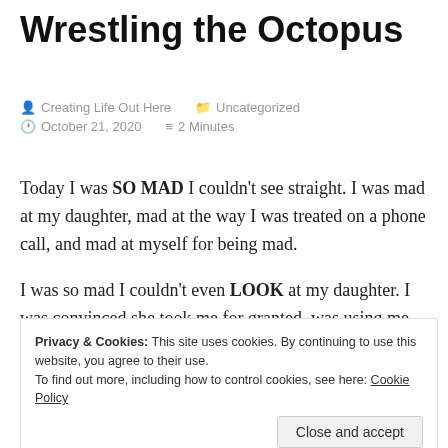Wrestling the Octopus
Creating Life Out Here   Uncategorized
October 21, 2020   2 Minutes
Today I was SO MAD I couldn't see straight. I was mad at my daughter, mad at the way I was treated on a phone call, and mad at myself for being mad.
I was so mad I couldn't even LOOK at my daughter. I was convinced she took me for granted, was using me
Privacy & Cookies: This site uses cookies. By continuing to use this website, you agree to their use.
To find out more, including how to control cookies, see here: Cookie Policy
me like an ass hole, was throwing me under the bus, and